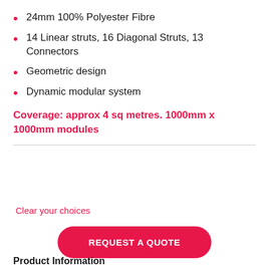24mm 100% Polyester Fibre
14 Linear struts, 16 Diagonal Struts, 13 Connectors
Geometric design
Dynamic modular system
Coverage: approx 4 sq metres. 1000mm x 1000mm modules
Clear your choices
REQUEST A QUOTE
Product Information